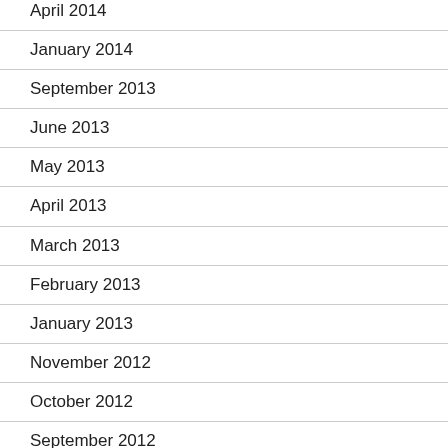April 2014
January 2014
September 2013
June 2013
May 2013
April 2013
March 2013
February 2013
January 2013
November 2012
October 2012
September 2012